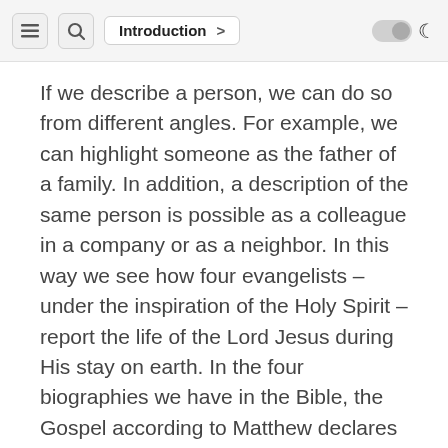Introduction
If we describe a person, we can do so from different angles. For example, we can highlight someone as the father of a family. In addition, a description of the same person is possible as a colleague in a company or as a neighbor. In this way we see how four evangelists – under the inspiration of the Holy Spirit – report the life of the Lord Jesus during His stay on earth. In the four biographies we have in the Bible, the Gospel according to Matthew declares the Lord Jesus as King, Mark presents Him as Servant, Luke describes Him as true Man and finally John writes about Him as the eternal Son of